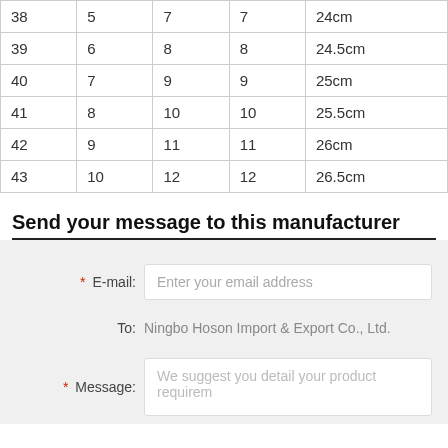| 38 | 5 | 7 | 7 | 24cm |
| 39 | 6 | 8 | 8 | 24.5cm |
| 40 | 7 | 9 | 9 | 25cm |
| 41 | 8 | 10 | 10 | 25.5cm |
| 42 | 9 | 11 | 11 | 26cm |
| 43 | 10 | 12 | 12 | 26.5cm |
Send your message to this manufacturer
* E-mail: Enter your email address
To: Ningbo Hoson Import & Export Co., Ltd.
* Message: We suggest you detail your product requirem...